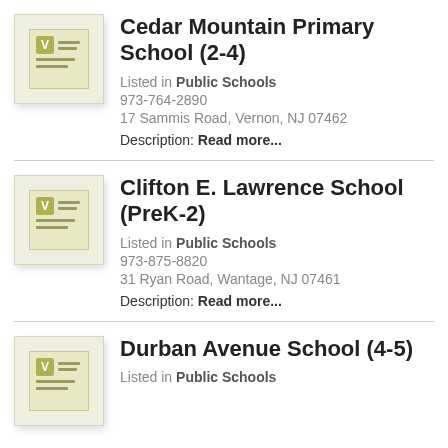Cedar Mountain Primary School (2-4)
Listed in Public Schools
973-764-2890
17 Sammis Road, Vernon, NJ 07462
Description: Read more...
Clifton E. Lawrence School (PreK-2)
Listed in Public Schools
973-875-8820
31 Ryan Road, Wantage, NJ 07461
Description: Read more...
Durban Avenue School (4-5)
Listed in Public Schools